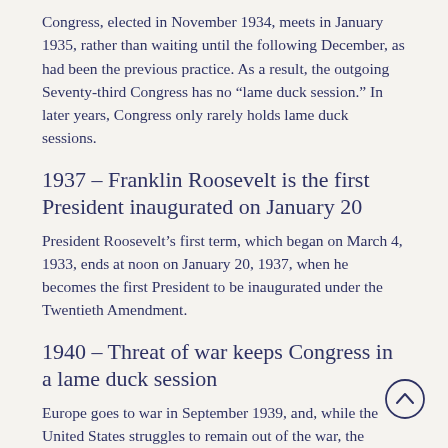Congress, elected in November 1934, meets in January 1935, rather than waiting until the following December, as had been the previous practice. As a result, the outgoing Seventy-third Congress has no “lame duck session.” In later years, Congress only rarely holds lame duck sessions.
1937 – Franklin Roosevelt is the first President inaugurated on January 20
President Roosevelt’s first term, which began on March 4, 1933, ends at noon on January 20, 1937, when he becomes the first President to be inaugurated under the Twentieth Amendment.
1940 – Threat of war keeps Congress in a lame duck session
Europe goes to war in September 1939, and, while the United States struggles to remain out of the war, the constant threat of hostilities keeps Congress in session throughout 1940, even during the months after the